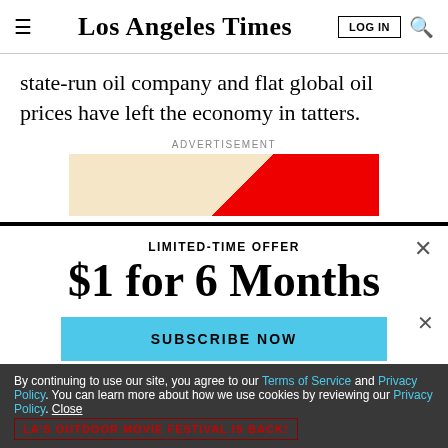Los Angeles Times | LOG IN
state-run oil company and flat global oil prices have left the economy in tatters.
ADVERTISEMENT
[Figure (other): Advertisement banner with diagonal red stripe on tan background]
LIMITED-TIME OFFER
$1 for 6 Months
SUBSCRIBE NOW
By continuing to use our site, you agree to our Terms of Service and Privacy Policy. You can learn more about how we use cookies by reviewing our Privacy Policy. Close
LA'S OUTDOOR MOVIE FESTIVAL IS BACK!